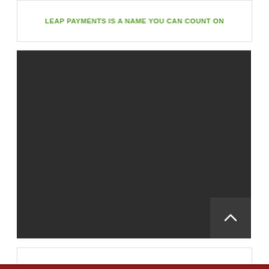LEAP PAYMENTS IS A NAME YOU CAN COUNT ON
[Figure (photo): Dark/black rectangular image area, likely a video thumbnail or placeholder image with a scroll-to-top button in the bottom right corner]
DON'T FALL FOR MISLEADING PITCHES WHEN IT CO...